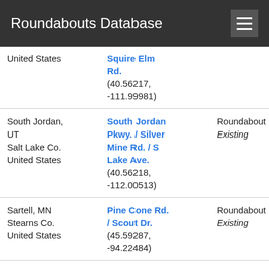Roundabouts Database
| Location | Intersection | Type | Control | ... |
| --- | --- | --- | --- | --- |
| Salt Lake Co. / United States | Squire Elm Rd. (40.56217, -111.99981) | ... | None | ... |
| South Jordan, UT / Salt Lake Co. / United States | South Jordan Pkwy. / Silver Mine Rd. / S Lake Ave. (40.56218, -112.00513) | Roundabout Existing | All-Way Yield / None | 4 A / 0 D / 64. |
| Sartell, MN / Stearns Co. / United States | Pine Cone Rd. / Scout Dr. (45.59287, -94.22484) | Roundabout Existing | All-Way Yield / None | 4 A / 0 D / 40. |
| St Cloud, MN / Stearns Co. / United States | 33rd St. S / CTH 74 (45.51541, | Roundabout Existing | All-Way Yield / None | 4 A / 0 D / 44. |